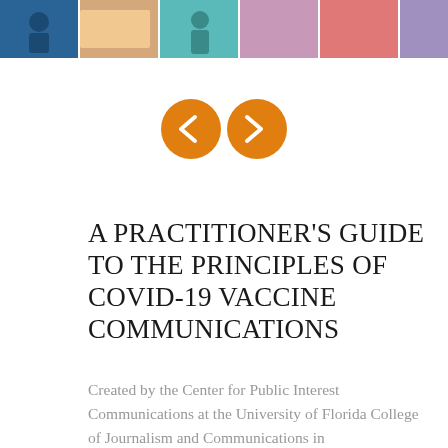[Figure (photo): A colorful photographic banner strip showing people, likely related to vaccination or public health communications, spanning the top of the page.]
[Figure (infographic): Two orange circular navigation buttons with left and right chevron arrows (previous/next), centered on the page.]
A PRACTITIONER'S GUIDE TO THE PRINCIPLES OF COVID-19 VACCINE COMMUNICATIONS
Created by the Center for Public Interest Communications at the University of Florida College of Journalism and Communications in